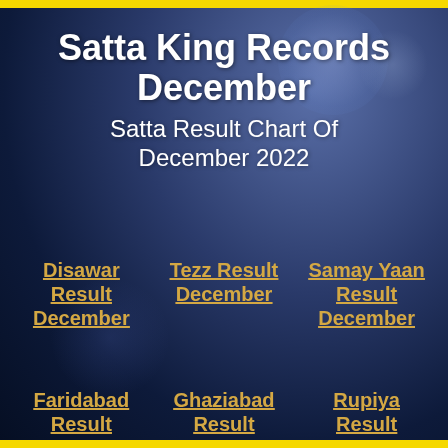Satta King Records December
Satta Result Chart Of December 2022
Disawar Result December
Tezz Result December
Samay Yaan Result December
Faridabad Result
Ghaziabad Result
Rupiya Result